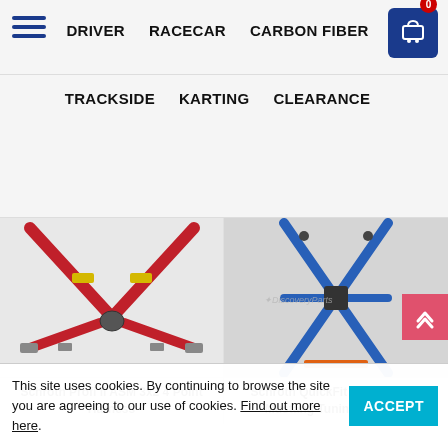DRIVER  RACECAR  CARBON FIBER  TRACKSIDE  KARTING  CLEARANCE
[Figure (photo): Schroth Profi II ASM 3x2 4 Point Harness - red racing harness with V-shape shoulder straps and center buckle]
Schroth Profi II ASM 3x2 4 Point Harness
[Figure (photo): Schroth QuickFit 2018+ Ford Mustang Tuning Harness - blue racing harness with X-shape shoulder straps, Discovery Parts watermark]
Schroth QuickFit - 2018+ Ford Mustang Tuning Harness
This site uses cookies. By continuing to browse the site you are agreeing to our use of cookies. Find out more here.